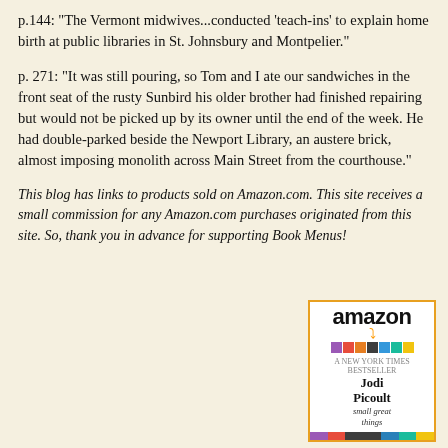p.144: "The Vermont midwives...conducted 'teach-ins' to explain home birth at public libraries in St. Johnsbury and Montpelier."
p. 271: "It was still pouring, so Tom and I ate our sandwiches in the front seat of the rusty Sunbird his older brother had finished repairing but would not be picked up by its owner until the end of the week. He had double-parked beside the Newport Library, an austere brick, almost imposing monolith across Main Street from the courthouse."
This blog has links to products sold on Amazon.com. This site receives a small commission for any Amazon.com purchases originated from this site. So, thank you in advance for supporting Book Menus!
[Figure (other): Amazon product widget showing book cover for 'small great things' by Jodi Picoult]